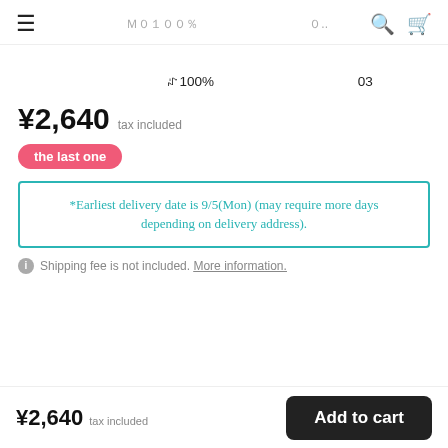≡  ［］［］［］［２１００％ ［］［］［］［］［］［］０..  🔍  🛒
［］［］［］［２１００％ ［］［］［］［］［］03［］［］ ［］［］［］
¥2,640  tax included
the last one
*Earliest delivery date is 9/5(Mon) (may require more days depending on delivery address).
ⓘ Shipping fee is not included. More information.
［］［］［］［］［］［］［］［］［］［］［］［］［］［］［］［］［］
［］［］［］［］［］［］［］［］［］［］［］［］［］［］［］［］［］［］［］［］［］［］［］［］
［］［］［］［］［］［］［］［］［］［］［］［］［］［］［］［］［］［］［］［］［］［］［］［］
¥2,640  tax included  Add to cart